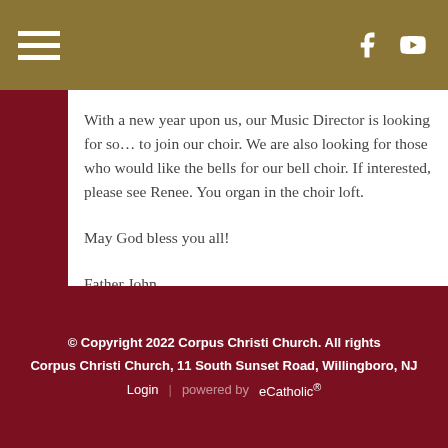Navigation bar with hamburger menu and social icons (Facebook, YouTube)
With a new year upon us, our Music Director is looking for someone to join our choir. We are also looking for those who would like the bells for our bell choir. If interested, please see Renee. You organ in the choir loft.
May God bless you all!
Father John
© Copyright 2022 Corpus Christi Church. All rights reserved. Corpus Christi Church, 11 South Sunset Road, Willingboro, NJ Login | powered by eCatholic®